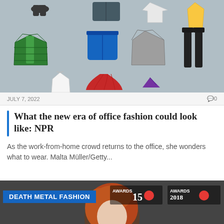[Figure (illustration): Illustration of various clothing items on a light blue-grey background: dark boots, folded denim jeans, white t-shirt, yellow dress, green puffer jacket, blue shorts, grey hoodie, black thigh-high stockings, white camisole, red ruffled dress/top, purple thong underwear]
JULY 7, 2022   🗨 0
What the new era of office fashion could look like: NPR
As the work-from-home crowd returns to the office, she wonders what to wear. Malta Müller/Getty...
[Figure (photo): Photo of a person with curly red/auburn hair at what appears to be the BRIT Awards 2018 red carpet event. 'DEATH METAL FASHION' badge overlaid in the top left. BRIT Awards logos visible in background.]